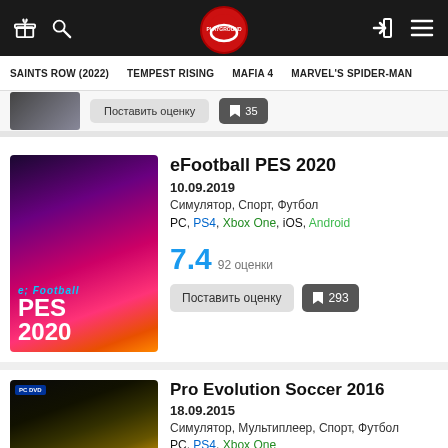Playground navigation bar with logo, search, gift, login and menu icons
SAINTS ROW (2022)   TEMPEST RISING   MAFIA 4   MARVEL'S SPIDER-MAN
[Figure (screenshot): Partially visible game card with 'Поставить оценку' button and bookmark with 35]
eFootball PES 2020
10.09.2019
Симулятор, Спорт, Футбол
PC, PS4, Xbox One, iOS, Android
[Figure (photo): eFootball PES 2020 game cover art showing a soccer player on a magenta/dark background with 'eFootball PES2020' text]
7.4   92 оценки
Поставить оценку   293
Pro Evolution Soccer 2016
18.09.2015
Симулятор, Мультиплеер, Спорт, Футбол
PC, PS4, Xbox One
[Figure (photo): Pro Evolution Soccer 2016 game cover art showing a soccer player with yellow/dark background with PC DVD badge]